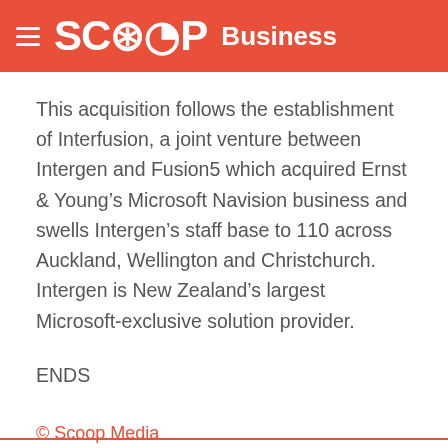SCOOP Business
This acquisition follows the establishment of Interfusion, a joint venture between Intergen and Fusion5 which acquired Ernst & Young’s Microsoft Navision business and swells Intergen’s staff base to 110 across Auckland, Wellington and Christchurch. Intergen is New Zealand’s largest Microsoft-exclusive solution provider.
ENDS
© Scoop Media